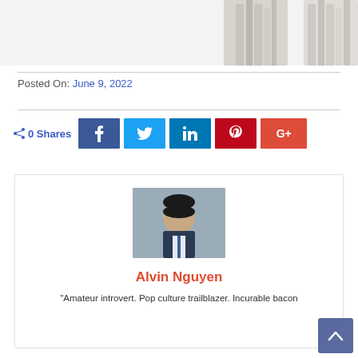[Figure (photo): Partial top portion of an image showing two figures in light/white clothing on a white background]
Posted On: June 9, 2022
[Figure (infographic): Social share bar showing 0 Shares with buttons for Facebook, Twitter, LinkedIn, Pinterest, and Google+]
[Figure (photo): Professional headshot of Alvin Nguyen in a dark suit with blue tie against a grey background]
Alvin Nguyen
"Amateur introvert. Pop culture trailblazer. Incurable bacon